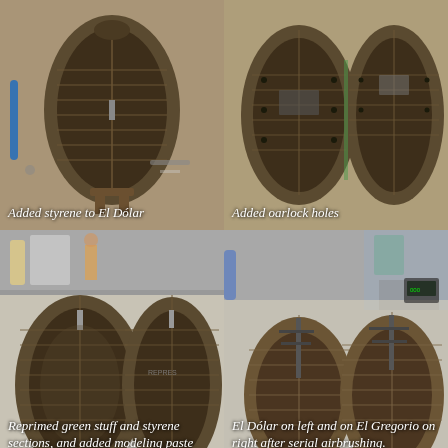[Figure (photo): Top-left photo: Model ship hull viewed from above, showing interior ribbing, in progress construction with tools visible. Caption: Added styrene to El Dólar]
[Figure (photo): Top-right photo: Two model ship hulls viewed from above showing oarlock holes added. Caption: Added oarlock holes]
[Figure (photo): Bottom-left photo: Two model ship hulls viewed from above after repriming and adding modeling paste. Caption: Reprimed green stuff and styrene sections, and added modeling paste]
[Figure (photo): Bottom-right photo: Two model ship hulls on workbench after serial airbrushing. Caption: El Dólar on left and on El Gregorio on right after serial airbrushing.]
It was then time to work on the sails, more rigging, and the water base. I made the sails